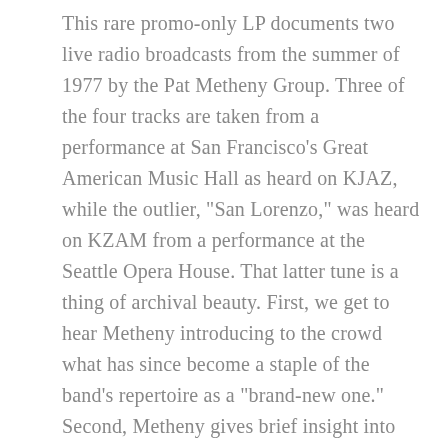This rare promo-only LP documents two live radio broadcasts from the summer of 1977 by the Pat Metheny Group. Three of the four tracks are taken from a performance at San Francisco's Great American Music Hall as heard on KJAZ, while the outlier, "San Lorenzo," was heard on KZAM from a performance at the Seattle Opera House. That latter tune is a thing of archival beauty. First, we get to hear Metheny introducing to the crowd what has since become a staple of the band's repertoire as a "brand-new one." Second, Metheny gives brief insight into its "odd tuning for the electric 12-string" and by extension into his process. This information only heightens our wonder at what transpires for its effortlessness of execution in a nascent stage, while also cluing us in on the historicity of its coalescence. Moreover, Metheny and company play it more slowly and enigmatically than on the seminal album they would